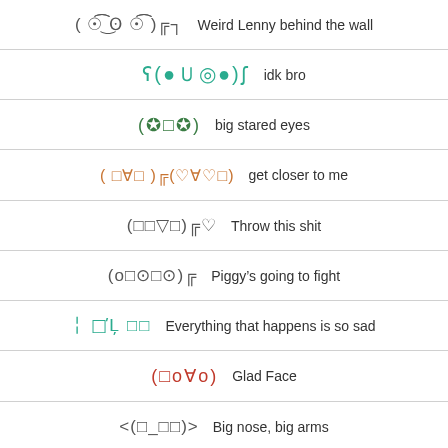( ͡° ͜ʖ ͡° )╔╗ Weird Lenny behind the wall
ʕ(●ＵＯ●)ʃ idk bro
(✪□✪) big stared eyes
( □∀□ )╔(♡∀♡□) get closer to me
(□□▽□)╔♡ Throw this shit
(o□⊙□⊙)╔ Piggy's going to fight
͏ □ □L̦ □□ Everything that happens is so sad
(□o∀o) Glad Face
<(□_□□)> Big nose, big arms